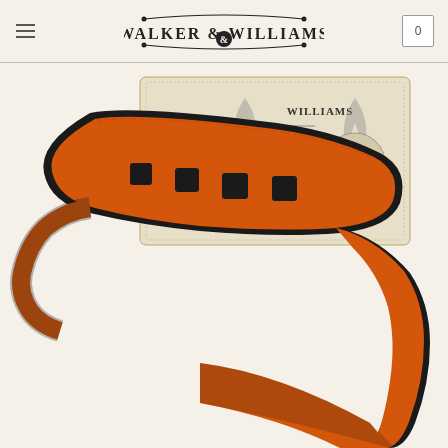Walker & Williams — navigation header with menu icon and cart (0 items)
[Figure (photo): Walker & Williams branded orange leather guitar strap with black padding and square decorative cutouts, displayed against a vintage Walker & Williams logo card background on a cream/beige page background]